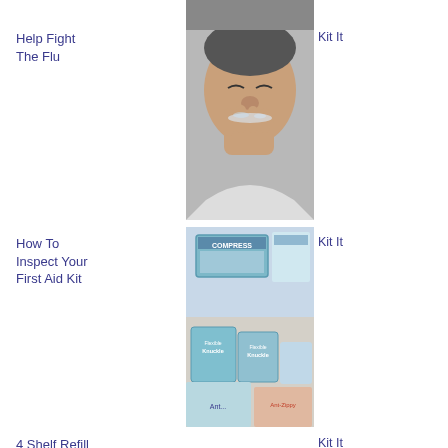Help Fight The Flu
[Figure (photo): Man sneezing into his hand, close-up photo]
Kit It
How To Inspect Your First Aid Kit
[Figure (photo): First aid kit supplies on shelves including compress and bandages]
Kit It
4 Shelf Refill for Industrial First Aid Cabinet
Kit It
How to pack a car emergency kit
[Figure (photo): Car driving on foggy highway in winter conditions]
Kit It
Complete emergency response first